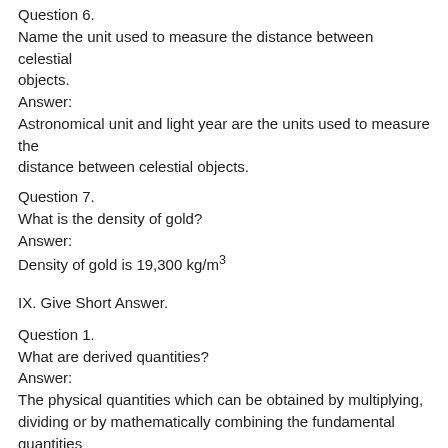Question 6.
Name the unit used to measure the distance between celestial objects.
Answer:
Astronomical unit and light year are the units used to measure the distance between celestial objects.
Question 7.
What is the density of gold?
Answer:
Density of gold is 19,300 kg/m³
IX. Give Short Answer.
Question 1.
What are derived quantities?
Answer:
The physical quantities which can be obtained by multiplying, dividing or by mathematically combining the fundamental quantities are known as derived quantities.
(or)
The physical quantities which are expressed is terms of fundamental